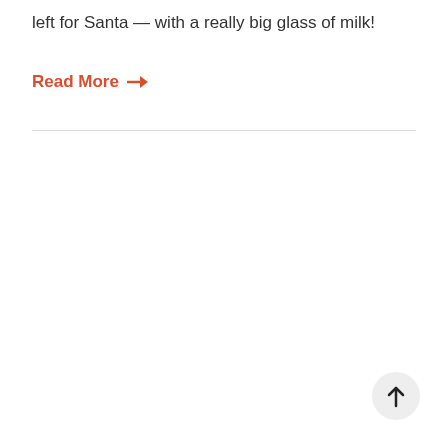left for Santa — with a really big glass of milk!
Read More →
[Figure (other): Scroll-to-top button: a circular light grey button with an upward arrow icon, positioned at the bottom right of the page.]